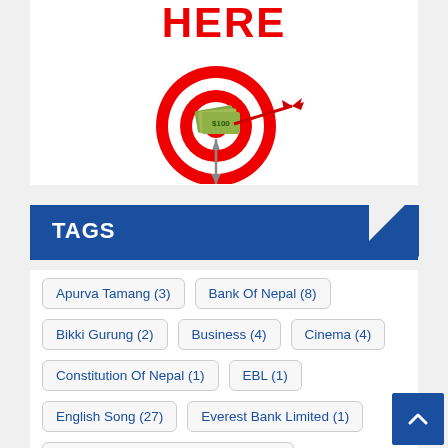[Figure (illustration): Advertisement image showing the word HERE in large red bold text above a red and white target/dartboard with a dart hitting it and dollar bills fanned out from the center, plus a dart below pointing downward.]
TAGS
Apurva Tamang (3)
Bank Of Nepal (8)
Bikki Gurung (2)
Business (4)
Cinema (4)
Constitution Of Nepal (1)
EBL (1)
English Song (27)
Everest Bank Limited (1)
Facts About Constitution Of Nepal (1)
Hamro Constitution Day (1)